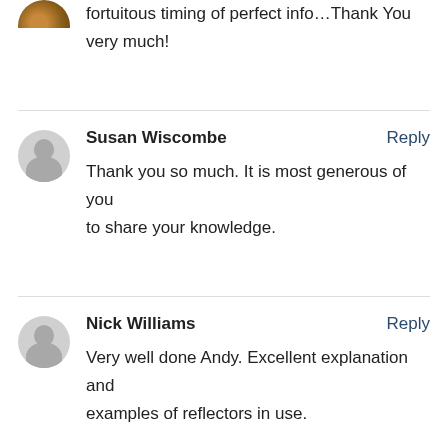fortuitous timing of perfect info…Thank You very much!
Susan Wiscombe
Reply
Thank you so much. It is most generous of you to share your knowledge.
Nick Williams
Reply
Very well done Andy. Excellent explanation and examples of reflectors in use.